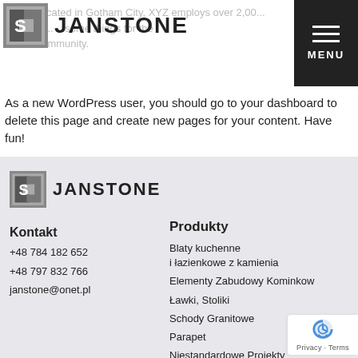since. Located in Gotham City, XYZ employs over 2,000 people... some things for the Gotham community.
[Figure (logo): JANSTONE logo with stylized S icon and bold text JANSTONE]
As a new WordPress user, you should go to your dashboard to delete this page and create new pages for your content. Have fun!
[Figure (logo): JANSTONE footer logo with stylized S icon and bold text JANSTONE]
Kontakt
+48 784 182 652
+48 797 832 766
janstone@onet.pl
Produkty
Blaty kuchenne i łazienkowe z kamienia
Elementy Zabudowy Kominkow
Ławki, Stoliki
Schody Granitowe
Parapet
Niestandardowe Projekty